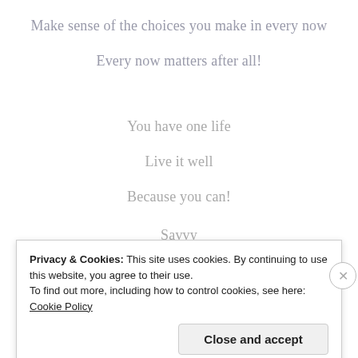Make sense of the choices you make in every now
Every now matters after all!
You have one life
Live it well
Because you can!
Savvy
Privacy & Cookies: This site uses cookies. By continuing to use this website, you agree to their use.
To find out more, including how to control cookies, see here: Cookie Policy
Close and accept